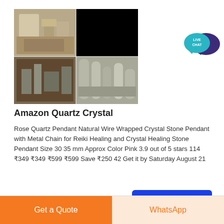[Figure (photo): Four-panel grid of industrial quartz crystal processing machinery images showing equipment with pipes and hoppers]
Amazon Quartz Crystal
Rose Quartz Pendant Natural Wire Wrapped Crystal Stone Pendant with Metal Chain for Reiki Healing and Crystal Healing Stone Pendant Size 30 35 mm Approx Color Pink 3.9 out of 5 stars 114 ₹349 ₹349 ₹599 ₹599 Save ₹250 42 Get it by Saturday August 21
[Figure (logo): Live Chat bubble icon in teal and dark purple]
Chat Online
Get a Quote
WhatsApp